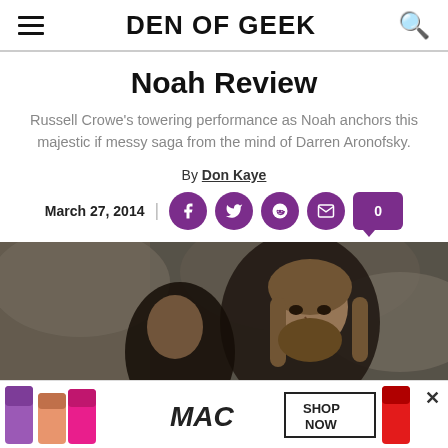DEN OF GEEK
Noah Review
Russell Crowe's towering performance as Noah anchors this majestic if messy saga from the mind of Darren Aronofsky.
By Don Kaye
March 27, 2014
[Figure (photo): Russell Crowe as Noah with long hair, looking serious, rocky background]
[Figure (photo): MAC cosmetics advertisement showing lipsticks and SHOP NOW button]